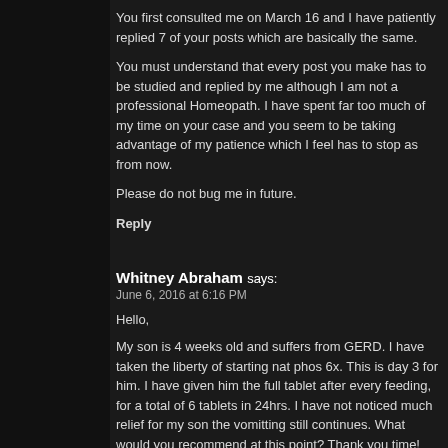You first consulted me on March 16 and I have patiently replied 7 of your posts which are basically the same.
You must understand that every post you make has to be studied and replied by me although I am not a professional Homeopath. I have spent far too much of my time on your case and you seem to be taking advantage of my patience which I feel has to stop as from now.
Please do not bug me in future.
Reply
Whitney Abraham says:
June 6, 2016 at 6:16 PM
Hello,
My son is 4 weeks old and suffers from GERD. I have taken the liberty of starting nat phos 6x. This is day 3 for him. I have given him the full tablet after every feeding, for a total of 6 tablets in 24hrs. I have not noticed much relief for my son the vomitting still continues. What would you recommend at this point? Thank you time!
Reply
Joe says:
June 6, 2016 at 8:32 PM
Please follow the therapy outlined in my default therapy for baby GERD precisely you will note that I have prescribed half tablet before and half after a feed.